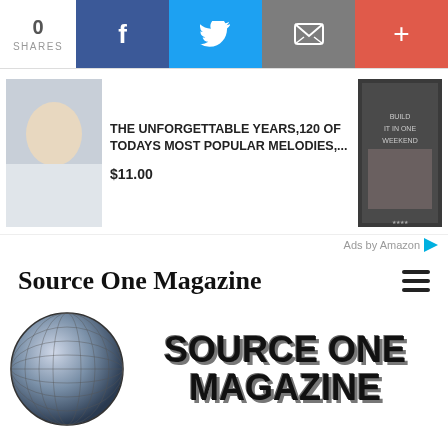0 SHARES
[Figure (screenshot): Social share bar with Facebook, Twitter, email, and plus buttons]
[Figure (photo): Advertisement thumbnail showing a woman smiling]
THE UNFORGETTABLE YEARS,120 OF TODAYS MOST POPULAR MELODIES,...
$11.00
[Figure (photo): Advertisement thumbnail showing a book cover]
Ads by Amazon
Source One Magazine
[Figure (logo): Source One Magazine logo with globe and bold text]
Caught, The Mass Murdering